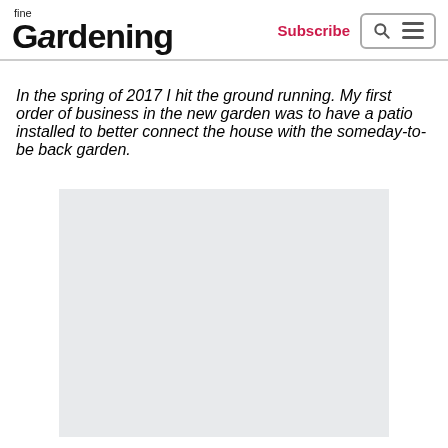fine Gardening | Subscribe
In the spring of 2017 I hit the ground running. My first order of business in the new garden was to have a patio installed to better connect the house with the someday-to-be back garden.
[Figure (photo): A light gray placeholder image area representing a garden or patio photograph.]